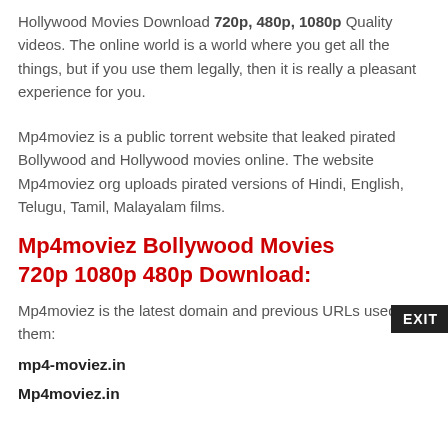Hollywood Movies Download 720p, 480p, 1080p Quality videos. The online world is a world where you get all the things, but if you use them legally, then it is really a pleasant experience for you.
Mp4moviez is a public torrent website that leaked pirated Bollywood and Hollywood movies online. The website Mp4moviez org uploads pirated versions of Hindi, English, Telugu, Tamil, Malayalam films.
Mp4moviez Bollywood Movies 720p 1080p 480p Download:
Mp4moviez is the latest domain and previous URLs used by them:
mp4-moviez.in
Mp4moviez.in